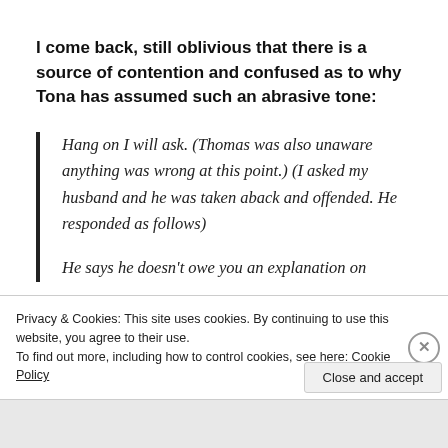I come back, still oblivious that there is a source of contention and confused as to why Tona has assumed such an abrasive tone:
Hang on I will ask. (Thomas was also unaware anything was wrong at this point.) (I asked my husband and he was taken aback and offended. He responded as follows)

He says he doesn't owe you an explanation on
Privacy & Cookies: This site uses cookies. By continuing to use this website, you agree to their use.
To find out more, including how to control cookies, see here: Cookie Policy